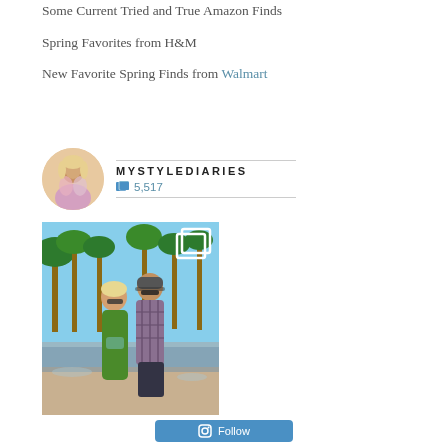Some Current Tried and True Amazon Finds
Spring Favorites from H&M
New Favorite Spring Finds from Walmart
[Figure (other): Instagram profile section showing MYSTYLEDIARIES account with avatar photo, username MYSTYLEDIARIES, post count 5,517]
[Figure (photo): Couple posing outdoors near a pool with palm trees. Woman in green dress, man in plaid shirt and dark shorts. Sunny day.]
Follow